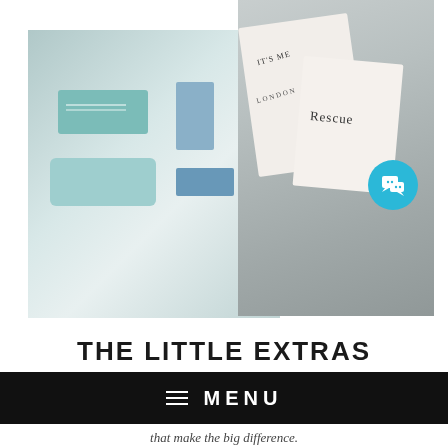[Figure (photo): Photo of teal/blue eyeglass cases and accessories on a light background — a rectangular teal box, a blue folded card, a teal pouch, and a blue flat card]
[Figure (photo): Photo of white branded packaging boxes on a grey background, one showing text 'LONDON' and another labeled 'Rescue', with a cyan chat bubble icon overlay]
THE LITTLE EXTRAS
MENU
that make the big difference.